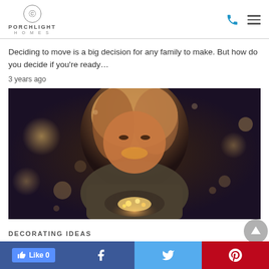PORCHLIGHT HOMES
Deciding to move is a big decision for any family to make. But how do you decide if you're ready…
3 years ago
[Figure (photo): Woman smiling and holding glowing fairy lights in her hands, bokeh background with warm golden lights]
DECORATING IDEAS